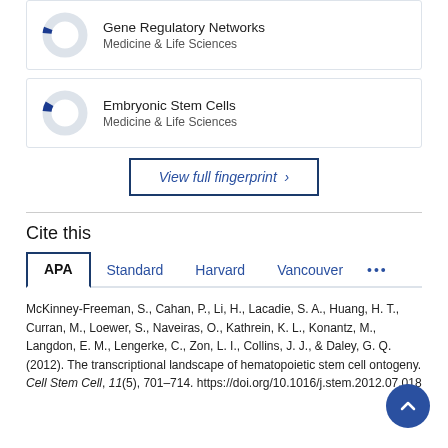[Figure (donut-chart): Small donut chart with a blue segment (small portion) on a light grey ring, representing Gene Regulatory Networks, Medicine & Life Sciences]
Gene Regulatory Networks
Medicine & Life Sciences
[Figure (donut-chart): Small donut chart with a blue segment (small portion) on a light grey ring, representing Embryonic Stem Cells, Medicine & Life Sciences]
Embryonic Stem Cells
Medicine & Life Sciences
View full fingerprint ›
Cite this
APA   Standard   Harvard   Vancouver   •••
McKinney-Freeman, S., Cahan, P., Li, H., Lacadie, S. A., Huang, H. T., Curran, M., Loewer, S., Naveiras, O., Kathrein, K. L., Konantz, M., Langdon, E. M., Lengerke, C., Zon, L. I., Collins, J. J., & Daley, G. Q. (2012). The transcriptional landscape of hematopoietic stem cell ontogeny. Cell Stem Cell, 11(5), 701-714. https://doi.org/10.1016/j.stem.2012.07.018